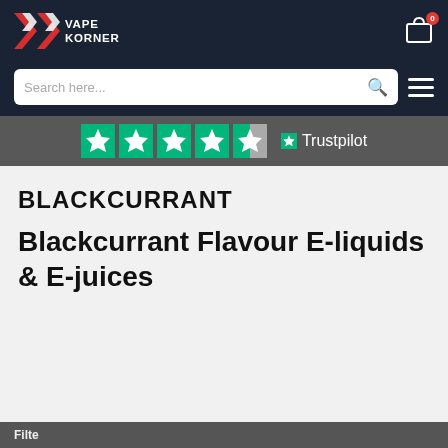[Figure (logo): Vape Korner logo with VK monogram in red and white on dark navy background, with shopping cart icon and badge showing 0]
[Figure (screenshot): Search bar with placeholder text 'Search here...' and magnifying glass icon, plus hamburger menu icon on dark navy background]
[Figure (logo): Trustpilot banner with 4.5 green stars and Trustpilot logo on dark gray background]
BLACKCURRANT
Blackcurrant Flavour E-liquids & E-juices